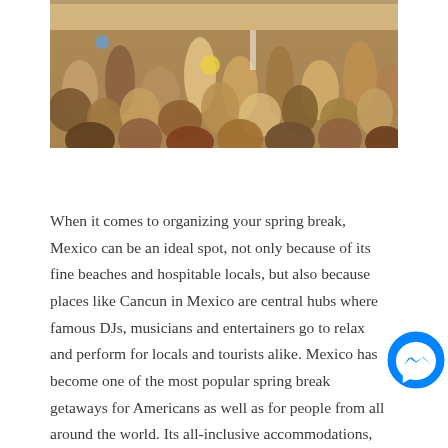[Figure (photo): Aerial/overhead view of a large crowd of people at what appears to be a beach party or outdoor festival, with people in swimwear and casual clothing packed together.]
When it comes to organizing your spring break, Mexico can be an ideal spot, not only because of its fine beaches and hospitable locals, but also because places like Cancun in Mexico are central hubs where famous DJs, musicians and entertainers go to relax and perform for locals and tourists alike. Mexico has become one of the most popular spring break getaways for Americans as well as for people from all around the world. Its all-inclusive accommodations, convenient and affordable transportation options, busy nightclubs and outstanding beach resorts are reason enough to consider it as a notable potential destination this spring.
[Figure (logo): Facebook Messenger logo — blue circle with white lightning bolt / chat icon]